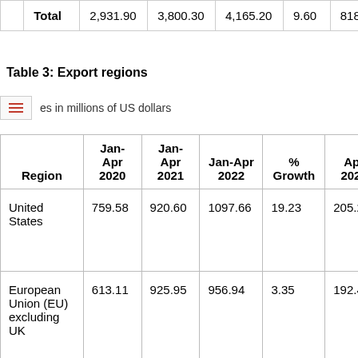|  | Jan-Apr 2020 | Jan-Apr 2021 | Jan-Apr 2022 | % Growth | Apr 2021 |
| --- | --- | --- | --- | --- | --- |
| Total | 2,931.90 | 3,800.30 | 4,165.20 | 9.60 | 818.2 |
Table 3: Export regions
es in millions of US dollars
| Region | Jan-Apr 2020 | Jan-Apr 2021 | Jan-Apr 2022 | % Growth | Apr 2021 |
| --- | --- | --- | --- | --- | --- |
| United States | 759.58 | 920.60 | 1097.66 | 19.23 | 205.20 |
| European Union (EU) excluding UK | 613.11 | 925.95 | 956.94 | 3.35 | 192.43 |
| South Asia | 282.55 | 361.01 | 425.28 | 17.80 | 78.32 |